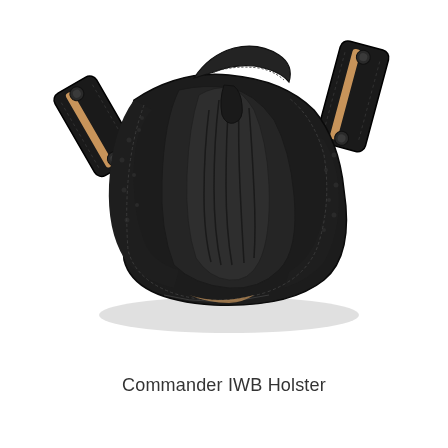[Figure (photo): A black leather Commander IWB (Inside Waistband) Holster photographed against a white background. The holster is shown at an angle, featuring black polished and textured leather construction with belt clips on both sides, a thumb break retention strap, and tan/natural leather backing visible on the interior edges.]
Commander IWB Holster